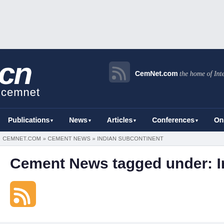[Figure (logo): CemNet logo - CN initials in white italic bold with cemnet text below, on dark navy background]
CemNet.com the home of International Cement Review
Publications | News | Articles | Conferences | Online Training
CEMNET.COM » CEMENT NEWS » INDIAN SUBCONTINENT
Cement News tagged under: Indian sub
[Figure (logo): Orange RSS feed icon]